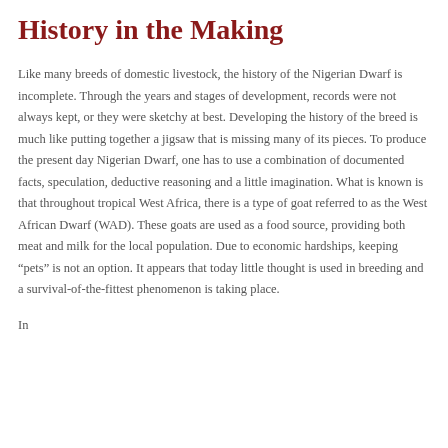History in the Making
Like many breeds of domestic livestock, the history of the Nigerian Dwarf is incomplete. Through the years and stages of development, records were not always kept, or they were sketchy at best. Developing the history of the breed is much like putting together a jigsaw that is missing many of its pieces. To produce the present day Nigerian Dwarf, one has to use a combination of documented facts, speculation, deductive reasoning and a little imagination. What is known is that throughout tropical West Africa, there is a type of goat referred to as the West African Dwarf (WAD). These goats are used as a food source, providing both meat and milk for the local population. Due to economic hardships, keeping “pets” is not an option. It appears that today little thought is used in breeding and a survival-of-the-fittest phenomenon is taking place.
In